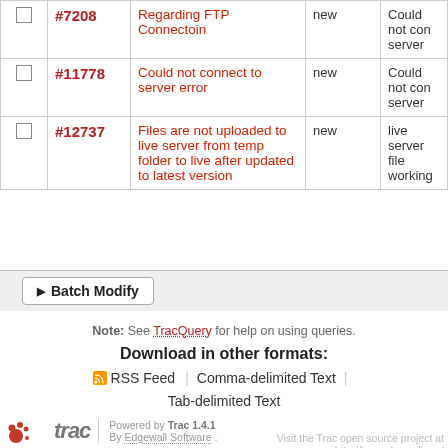|  | Ticket | Summary | Status | Description |
| --- | --- | --- | --- | --- |
| ☐ | #7208 | Regarding FTP Connectoin | new | Could not connect to server |
| ☐ | #11778 | Could not connect to server error | new | Could not connect to server |
| ☐ | #12737 | Files are not uploaded to live server from temp folder to live after updated to latest version | new | live server file working |
▶ Batch Modify
Note: See TracQuery for help on using queries.
Download in other formats:
RSS Feed | Comma-delimited Text | Tab-delimited Text
Powered by Trac 1.4.1
By Edgewall Software .
Visit the Trac open source project at http://trac.edgewall.org/